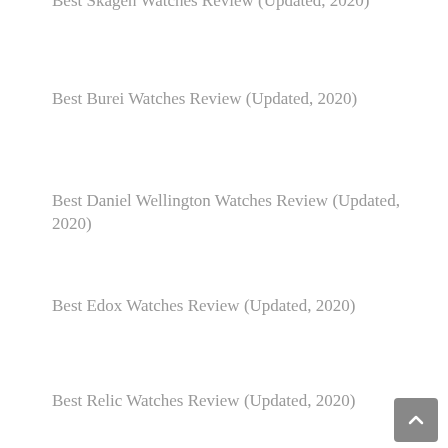Best Skagen Watches Review (Updated, 2020)
Best Burei Watches Review (Updated, 2020)
Best Daniel Wellington Watches Review (Updated, 2020)
Best Edox Watches Review (Updated, 2020)
Best Relic Watches Review (Updated, 2020)